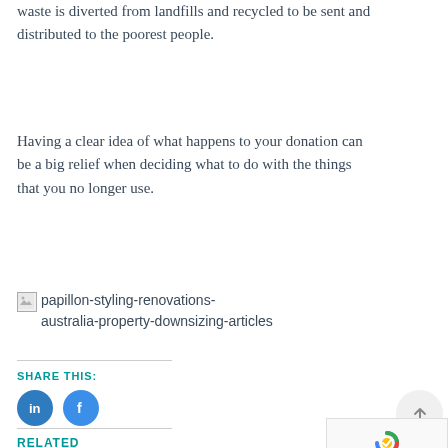waste is diverted from landfills and recycled to be sent and distributed to the poorest people.
Having a clear idea of what happens to your donation can be a big relief when deciding what to do with the things that you no longer use.
[Figure (other): Broken image placeholder with alt text: papillon-styling-renovations-australia-property-downsizing-articles]
SHARE THIS:
[Figure (other): LinkedIn share button (blue circle with LinkedIn logo)]
[Figure (other): Facebook share button (blue circle with Facebook logo)]
[Figure (other): Scroll to top button (light gray circle with up arrow)]
[Figure (other): reCAPTCHA widget with Privacy and Terms text]
RELATED